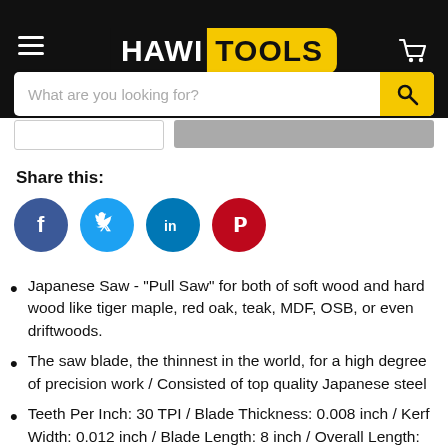HAWI TOOLS
Share this:
[Figure (infographic): Social sharing icons: Facebook (blue circle with f), Twitter (light blue circle with bird), LinkedIn (dark blue circle with in), Pinterest (red circle with P)]
Japanese Saw - “Pull Saw” for both of soft wood and hard wood like tiger maple, red oak, teak, MDF, OSB, or even driftwoods.
The saw blade, the thinnest in the world, for a high degree of precision work / Consisted of top quality Japanese steel
Teeth Per Inch: 30 TPI / Blade Thickness: 0.008 inch / Kerf Width: 0.012 inch / Blade Length: 8 inch / Overall Length: